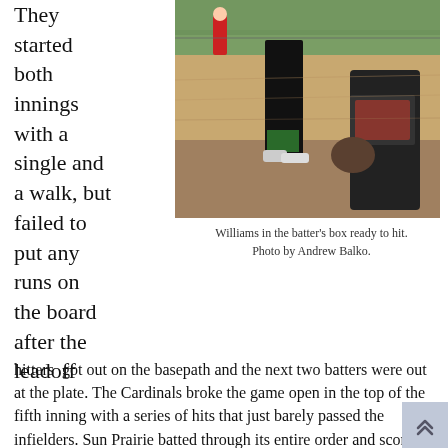They started both innings with a single and a walk, but failed to put any runs on the board after the leadoff
[Figure (photo): Softball player (Williams) in the batter's box ready to hit, with a catcher visible on the right. A player in red is visible in the background on a dirt and grass field.]
Williams in the batter's box ready to hit. Photo by Andrew Balko.
hitters  got out on the basepath and the next two batters were out at the plate. The Cardinals broke the game open in the top of the fifth inning with a series of hits that just barely passed the infielders. Sun Prairie batted through its entire order and scored five runs in the inning.